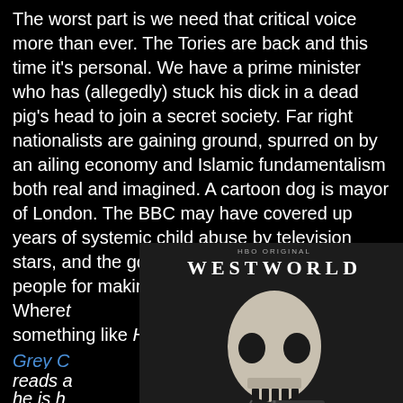The worst part is we need that critical voice more than ever. The Tories are back and this time it's personal. We have a prime minister who has (allegedly) stuck his dick in a dead pig's head to join a secret society. Far right nationalists are gaining ground, spurred on by an ailing economy and Islamic fundamentalism both real and imagined. A cartoon dog is mayor of London. The BBC may have covered up years of systemic child abuse by television stars, and the government is prosecuting people for making jokes on the internet. This stuff is ripe for horror satire in the pages of something like Hellbla...
[Figure (photo): Westworld HBO Max advertisement showing a robotic skull on a mechanical arm. Text reads WESTWORLD with HBO original branding and SEE THE BATTLE FOR THE FUTURE, PLANS START AT $9.99/MONTH]
Where...
Grey C... s. He reads a... cause he is h...